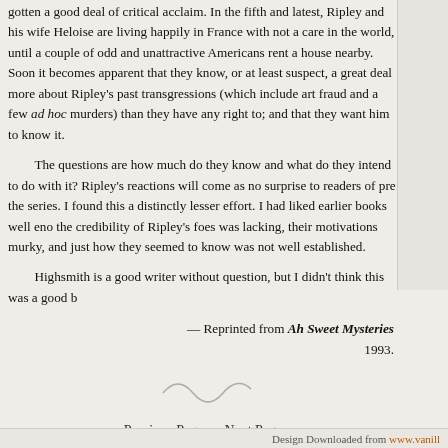gotten a good deal of critical acclaim. In the fifth and latest, Ripley and his wife Heloise are living happily in France with not a care in the world, until a couple of odd and unattractive Americans rent a house nearby. Soon it becomes apparent that they know, or at least suspect, a great deal more about Ripley's past transgressions (which include art fraud and a few ad hoc murders) than they have any right to; and that they want him to know it.
The questions are how much do they know and what do they intend to do with it? Ripley's reactions will come as no surprise to readers of pre the series. I found this a distinctly lesser effort. I had liked earlier books well eno the credibility of Ripley's foes was lacking, their motivations murky, and just how they seemed to know was not well established.
Highsmith is a good writer without question, but I didn't think this was a good b
— Reprinted from Ah Sweet Mysteries 1993.
[Figure (illustration): Decorative squiggle/tilde divider]
« Previous Page — Next Page »
Design Downloaded from www.vanill